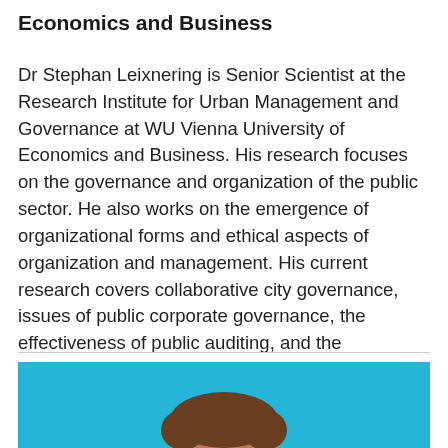Economics and Business
Dr Stephan Leixnering is Senior Scientist at the Research Institute for Urban Management and Governance at WU Vienna University of Economics and Business. His research focuses on the governance and organization of the public sector. He also works on the emergence of organizational forms and ethical aspects of organization and management. His current research covers collaborative city governance, issues of public corporate governance, the effectiveness of public auditing, and the institutionalization of the corporation as a legal form.
[Figure (photo): Headshot photo of Dr Stephan Leixnering against a light blue background, showing the top portion of the head with brown hair visible]